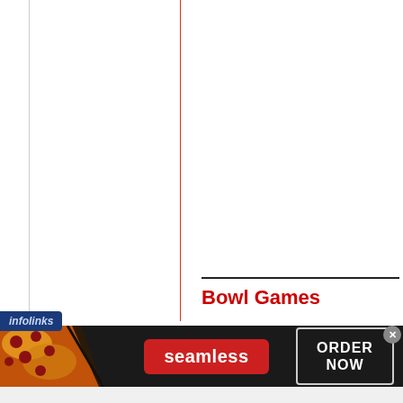[Figure (other): Vertical gray guide line on left side of page]
[Figure (other): Vertical red guide line in center of page]
Bowl Games
[Figure (screenshot): Infolinks advertisement banner: pizza image on left, Seamless red button in center, ORDER NOW button on right, dark background. Close X button in upper right corner.]